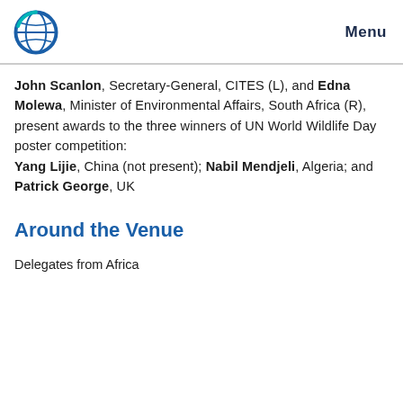Menu
John Scanlon, Secretary-General, CITES (L), and Edna Molewa, Minister of Environmental Affairs, South Africa (R), present awards to the three winners of UN World Wildlife Day poster competition: Yang Lijie, China (not present); Nabil Mendjeli, Algeria; and Patrick George, UK
Around the Venue
Delegates from Africa